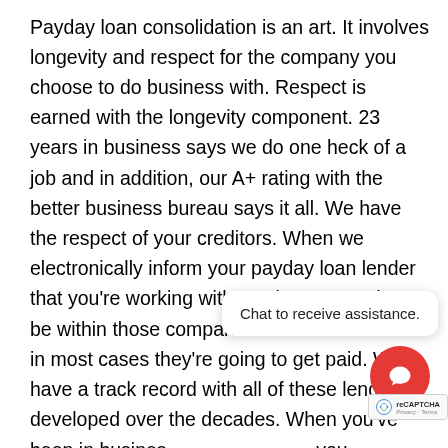Payday loan consolidation is an art. It involves longevity and respect for the company you choose to do business with. Respect is earned with the longevity component. 23 years in business says we do one heck of a job and in addition, our A+ rating with the better business bureau says it all. We have the respect of your creditors. When we electronically inform your payday loan lender that you're working with us, the powers that be within those companies feel confident that in most cases they're going to get paid. We have a track record with all of these lenders developed over the decades. When you've been in business for a long time, you command the respect of the companies you do business with. That's just the way it works. When choosing a payday loan consolidation company you look for that longevity and you look for that BBB ra...